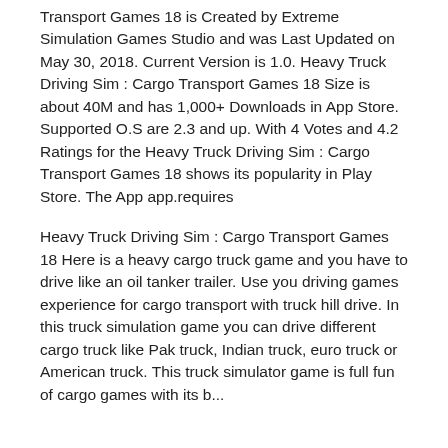Transport Games 18 is Created by Extreme Simulation Games Studio and was Last Updated on May 30, 2018. Current Version is 1.0. Heavy Truck Driving Sim : Cargo Transport Games 18 Size is about 40M and has 1,000+ Downloads in App Store. Supported O.S are 2.3 and up. With 4 Votes and 4.2 Ratings for the Heavy Truck Driving Sim : Cargo Transport Games 18 shows its popularity in Play Store. The App app.requires
Heavy Truck Driving Sim : Cargo Transport Games 18 Here is a heavy cargo truck game and you have to drive like an oil tanker trailer. Use you driving games experience for cargo transport with truck hill drive. In this truck simulation game you can drive different cargo truck like Pak truck, Indian truck, euro truck or American truck. This truck simulator game is full fun of cargo games with its b...